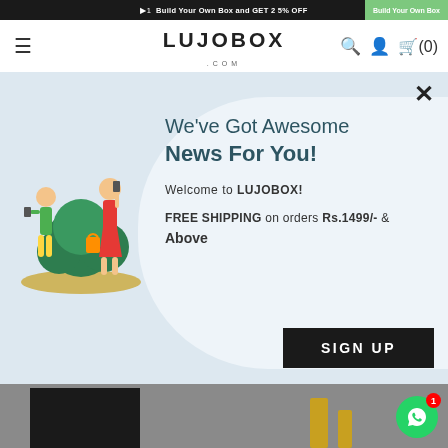Build Your Own Box and GET 25% OFF | Build Your Own Box
[Figure (screenshot): LUJOBOX.COM website navigation header with hamburger menu, logo, search, account and cart icons]
[Figure (illustration): Promotional modal popup with illustration of two people shopping, headline 'We've Got Awesome News For You!', welcome text and free shipping offer]
We've Got Awesome News For You!
Welcome to LUJOBOX!
FREE SHIPPING on orders Rs.1499/- & Above
[Figure (photo): Bottom section showing product images on dark/grey background]